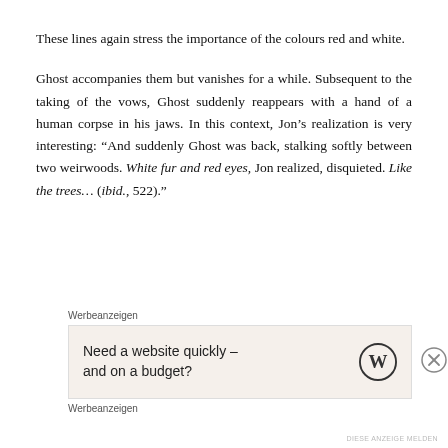These lines again stress the importance of the colours red and white.
Ghost accompanies them but vanishes for a while. Subsequent to the taking of the vows, Ghost suddenly reappears with a hand of a human corpse in his jaws. In this context, Jon’s realization is very interesting: “And suddenly Ghost was back, stalking softly between two weirwoods. White fur and red eyes, Jon realized, disquieted. Like the trees… (ibid., 522).”
Werbeanzeigen
[Figure (screenshot): Advertisement banner showing 'Need a website quickly – and on a budget?' with WordPress logo, labeled 'Werbeanzeigen' above and below, with a close button (X) on the right.]